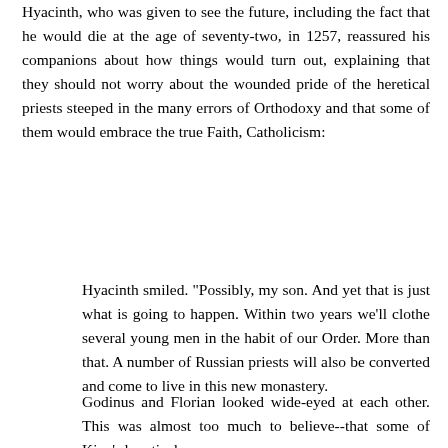Hyacinth, who was given to see the future, including the fact that he would die at the age of seventy-two, in 1257, reassured his companions about how things would turn out, explaining that they should not worry about the wounded pride of the heretical priests steeped in the many errors of Orthodoxy and that some of them would embrace the true Faith, Catholicism:
Hyacinth smiled. "Possibly, my son. And yet that is just what is going to happen. Within two years we'll clothe several young men in the habit of our Order. More than that. A number of Russian priests will also be converted and come to live in this new monastery.
Godinus and Florian looked wide-eyed at each other. This was almost too much to believe--that some of Kiev's heretical